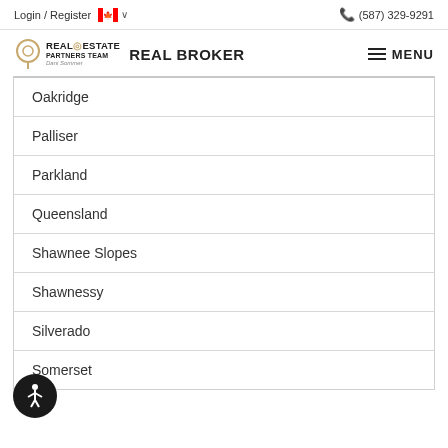Login / Register   🍁 ▾   (587) 329-9291
[Figure (logo): Real Estate Partners Team Real Broker logo with pin/location icon]
Oakridge
Palliser
Parkland
Queensland
Shawnee Slopes
Shawnessy
Silverado
Somerset